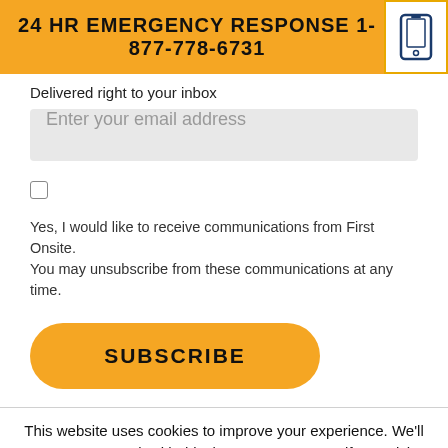24 HR EMERGENCY RESPONSE 1-877-778-6731
Delivered right to your inbox
Enter your email address
Yes, I would like to receive communications from First Onsite. You may unsubscribe from these communications at any time.
SUBSCRIBE
This website uses cookies to improve your experience. We'll assume you're ok with this, but you can opt-out if you wish.
Cookie Settings
ACCEPT